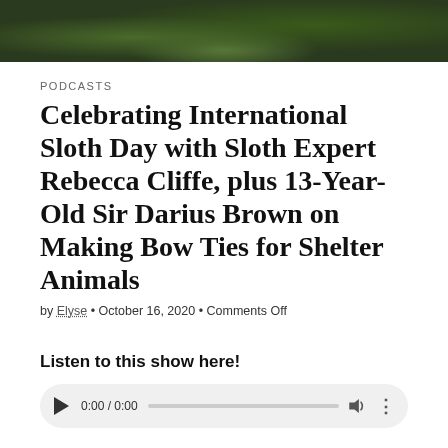[Figure (photo): Dark nature photo showing green foliage and small white flowers against a dark background, cropped at the top of the page.]
PODCASTS
Celebrating International Sloth Day with Sloth Expert Rebecca Cliffe, plus 13-Year-Old Sir Darius Brown on Making Bow Ties for Shelter Animals
by Elyse • October 16, 2020 • Comments Off
Listen to this show here!
[Figure (screenshot): Audio player UI with play button, time display showing 0:00 / 0:00, progress bar, volume icon, and options dots.]